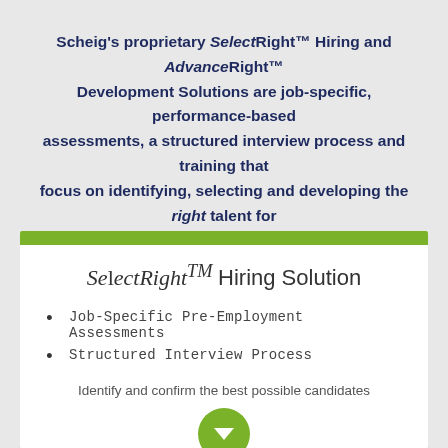Scheig's proprietary SelectRight™ Hiring and AdvanceRight™ Development Solutions are job-specific, performance-based assessments, a structured interview process and training that focus on identifying, selecting and developing the right talent for the right job.
SelectRight™ Hiring Solution
Job-Specific Pre-Employment Assessments
Structured Interview Process
Identify and confirm the best possible candidates